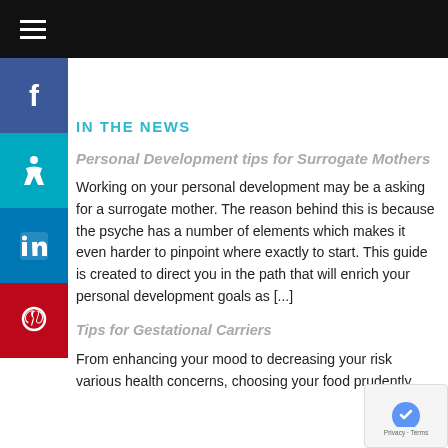≡ (navigation menu bar)
IN THE NEWS
Personal Development tips for Surrogate Mothers
Working on your personal development may be a asking for a surrogate mother. The reason behind this is because the psyche has a number of elements which makes it even harder to pinpoint where exactly to start. This guide is created to direct you in the path that will enrich your personal development goals as [...]
Tips for Gestational Carriers
From enhancing your mood to decreasing your risk various health concerns, choosing your food prudently